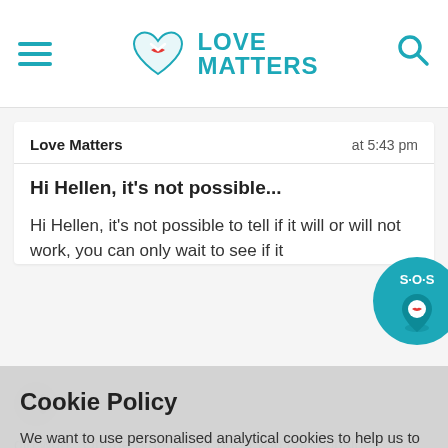Love Matters (logo and navigation)
Love Matters   at 5:43 pm
Hi Hellen, it's not possible...
Hi Hellen, it's not possible to tell if it will or will not work, you can only wait to see if it did work. On the other other hand you can consider speaking to a health care provider to see what other options you have. Check this article: [url] with-control/emergency-contraception-options-facts
Cookie Policy
We want to use personalised analytical cookies to help us to improve our website. Read more in our cookie statement
YES